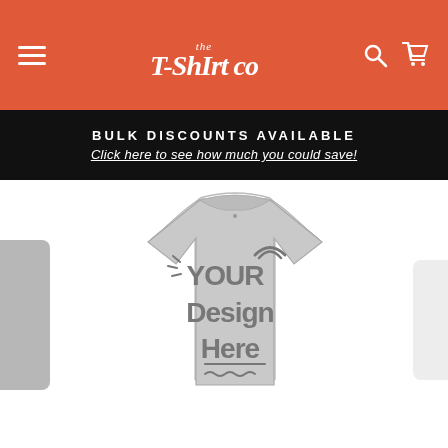[Figure (screenshot): The T-Shirt Co website header with orange background, hamburger menu icon on left, logo in center reading 'the T-Shirt Co' with hanger icon, and search/cart icons on right]
BULK DISCOUNTS AVAILABLE
Click here to see how much you could save!
[Figure (photo): Gray custom t-shirt mockup with 'YOUR Design Here' text printed on the front with decorative rainbow and wave elements, shown centered with partial views of other shirt colors on left and right sides]